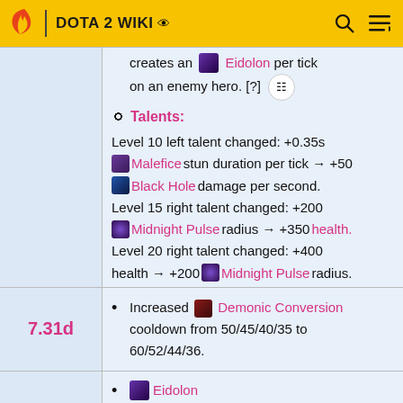DOTA 2 WIKI
creates an Eidolon per tick on an enemy hero. [?]
Talents: Level 10 left talent changed: +0.35s Malefice stun duration per tick → +50 Black Hole damage per second. Level 15 right talent changed: +200 Midnight Pulse radius → +350 health. Level 20 right talent changed: +400 health → +200 Midnight Pulse radius.
7.31d — Increased Demonic Conversion cooldown from 50/45/40/35 to 60/52/44/36.
Eidolon